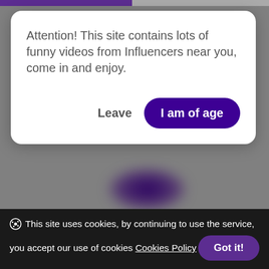[Figure (screenshot): Website age verification modal dialog over a blurred gray background. Modal contains text about funny videos from Influencers and two action buttons: Leave and I am of age. Bottom cookie consent bar with Got it! button.]
Attention! This site contains lots of funny videos from Influencers near you, come in and enjoy.
Leave
I am of age
This site uses cookies, by continuing to use the service, you accept our use of cookies Cookies Policy
Got it!